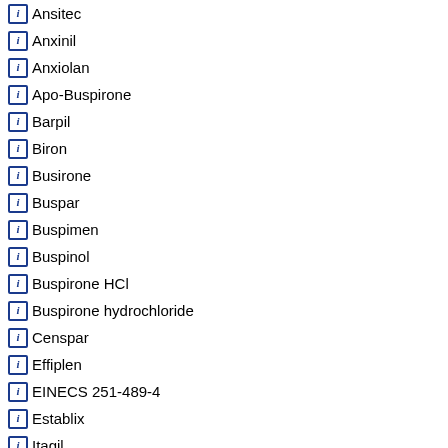Ansitec
Anxinil
Anxiolan
Apo-Buspirone
Barpil
Biron
Busirone
Buspar
Buspimen
Buspinol
Buspirone HCl
Buspirone hydrochloride
Censpar
Effiplen
EINECS 251-489-4
Establix
Itagil